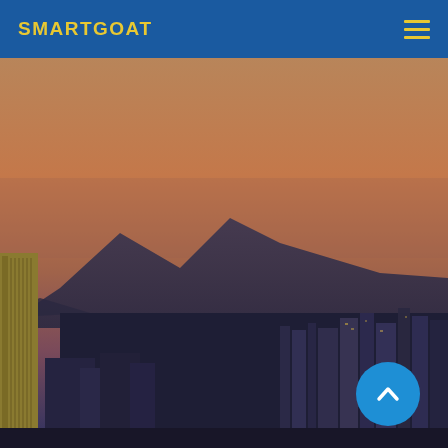SMARTGOAT
[Figure (photo): Hong Kong city skyline at dusk/sunset with mountains in the background, buildings in the foreground, warm orange-brown gradient sky]
[Figure (other): Blue circular scroll-to-top button with upward chevron arrow icon]